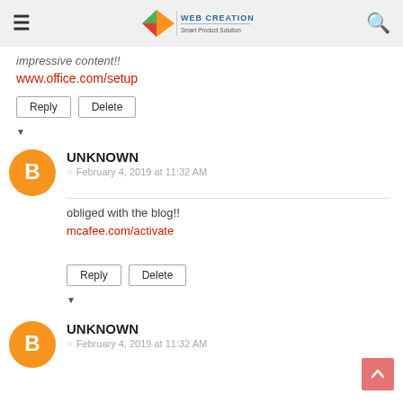Web Creation
impressive content!!
www.office.com/setup
Reply | Delete
UNKNOWN
February 4, 2019 at 11:32 AM
obliged with the blog!!
mcafee.com/activate
Reply | Delete
UNKNOWN
February 4, 2019 at 11:32 AM